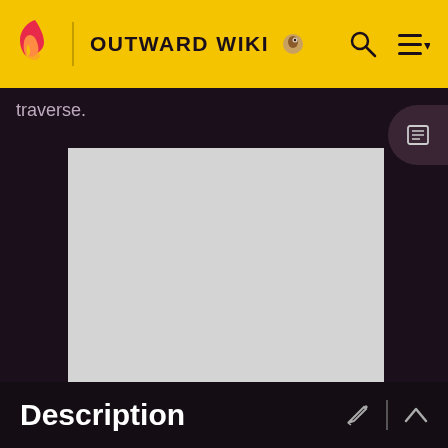OUTWARD WIKI
traverse.
[Figure (other): Advertisement placeholder box (gray rectangle)]
ADVERTISEMENT
Description